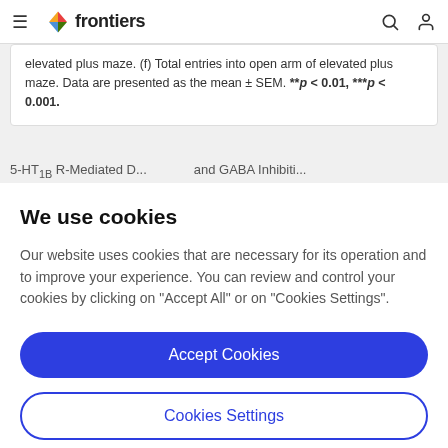frontiers
elevated plus maze. (f) Total entries into open arm of elevated plus maze. Data are presented as the mean ± SEM. **p < 0.01, ***p < 0.001.
5-HT... B-Mediated D... and GABA Inhibiti...
We use cookies
Our website uses cookies that are necessary for its operation and to improve your experience. You can review and control your cookies by clicking on "Accept All" or on "Cookies Settings".
Accept Cookies
Cookies Settings